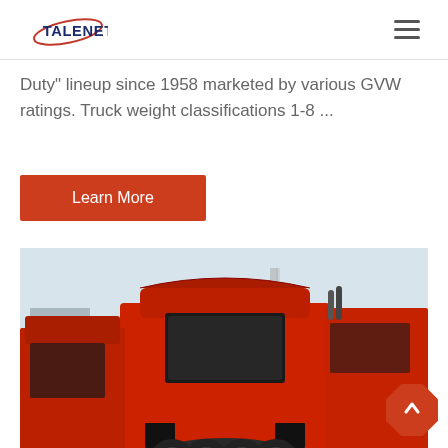TALENET
Duty" lineup since 1958 marketed by various GVW ratings. Truck weight classifications 1-8 ...
Learn More
[Figure (photo): Rear view of red heavy-duty trucks (HOWO brand) parked in a lot, showing multiple cab-over tractors from behind.]